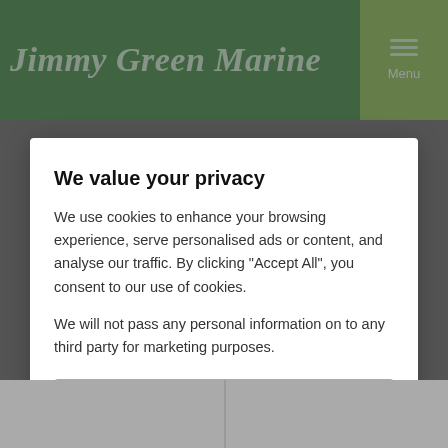Jimmy Green Marine
We value your privacy
We use cookies to enhance your browsing experience, serve personalised ads or content, and analyse our traffic. By clicking "Accept All", you consent to our use of cookies.
We will not pass any personal information on to any third party for marketing purposes.
Accept All
Customise